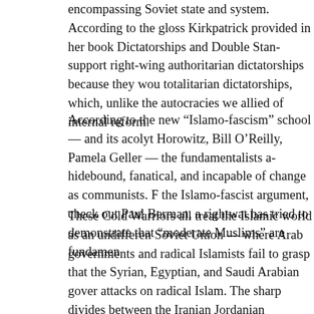encompassing Soviet state and system. According to the gloss Kirkpatrick provided in her book Dictatorships and Double Standards, support right-wing authoritarian dictatorships because they would totalitarian dictatorships, which, unlike the autocracies we allied of internal reform.
According to the new “Islamo-fascism” school — and its acolytes Horowitz, Bill O’Reilly, Pamela Geller — the fundamentalists are hidebound, fanatical, and incapable of change as communists. For the Islamo-fascist argument, check out Paul Berman, a rightward has tried to demonstrate that “moderate Muslims” are fundamentally
These Cold Warriors all treat the Islamic world as an undifferentiated Soviet Union — where Arab governments and radical Islamists fail to grasp that the Syrian, Egyptian, and Saudi Arabian governments attacks on radical Islam. The sharp divides between the Iranian Jordanian government and the Palestinians, between Shi’ites and Kurds all disappear in the totalitarian blender, just as anti-communists distinguish between the Communist hardliner Leonid Brezhnev